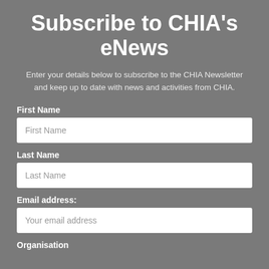Subscribe to CHIA's eNews
Enter your details below to subscribe to the CHIA Newsletter and keep up to date with news and activities from CHIA.
First Name
First Name (input field)
Last Name
Last Name (input field)
Email address:
Your email address (input field)
Organisation